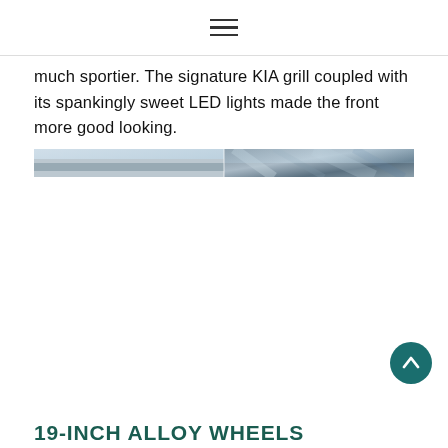≡
much sportier. The signature KIA grill coupled with its spankingly sweet LED lights made the front more good looking.
[Figure (photo): Horizontal strip image showing close-up of a car exterior, featuring metallic body panels and glass, with reflections visible.]
19-INCH ALLOY WHEELS